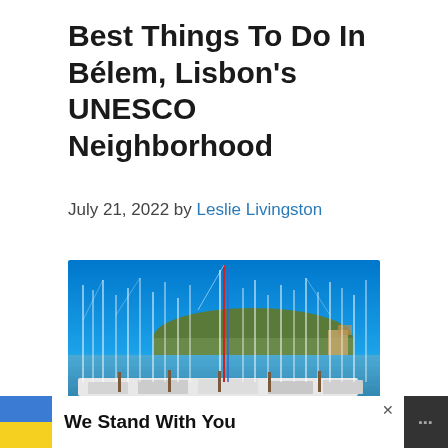Best Things To Do In Bélem, Lisbon's UNESCO Neighborhood
July 21, 2022 by Leslie Livingston
[Figure (photo): Marina with many sailboat masts against a clear blue sky, with a green hillside and buildings in the background]
We Stand With You